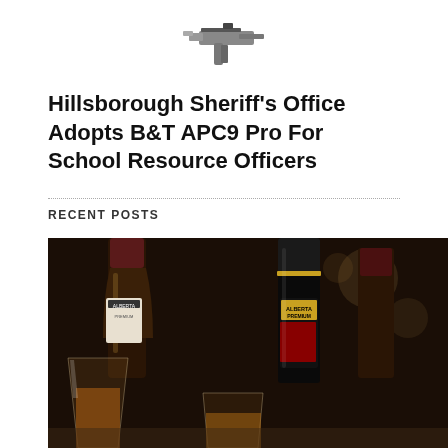[Figure (photo): Partial view of a firearm (appears to be a submachine gun) shown at top of page, cropped]
Hillsborough Sheriff's Office Adopts B&T APC9 Pro For School Resource Officers
RECENT POSTS
[Figure (photo): Photo of whisky bottles including Alberta Premium brand, with glasses of amber whisky on a table. A video overlay shows 'FAST DRILL: CAR' title and 'Uh oh, something went wrong' error message with video controls showing 0:00 timestamp.]